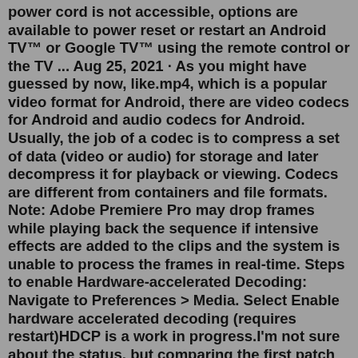power cord is not accessible, options are available to power reset or restart an Android TV™ or Google TV™ using the remote control or the TV ... Aug 25, 2021 · As you might have guessed by now, like.mp4, which is a popular video format for Android, there are video codecs for Android and audio codecs for Android. Usually, the job of a codec is to compress a set of data (video or audio) for storage and later decompress it for playback or viewing. Codecs are different from containers and file formats. Note: Adobe Premiere Pro may drop frames while playing back the sequence if intensive effects are added to the clips and the system is unable to process the frames in real-time. Steps to enable Hardware-accelerated Decoding: Navigate to Preferences > Media. Select Enable hardware accelerated decoding (requires restart)HDCP is a work in progress.I'm not sure about the status, but comparing the first patch of the RFC to the code of linux-4.13-rc6 I see it didn't land yet.. Stay tuned, I'm pretty sure the day HDCP get the whole stack from kernel through DRM (as in Direct